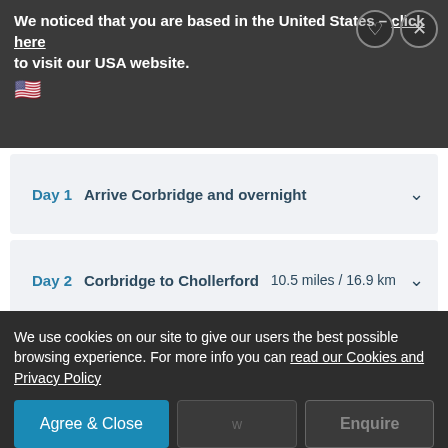We noticed that you are based in the United States - click here to visit our USA website.
Day 1   Arrive Corbridge and overnight
Day 2   Corbridge to Chollerford   10.5 miles / 16.9 km
Day 3   Chollerford to Once Brewed   12.8 miles / 20.5 km
Day 4   ...miles / 15.1 km
We use cookies on our site to give our users the best possible browsing experience. For more info you can read our Cookies and Privacy Policy
Agree & Close
Enquire